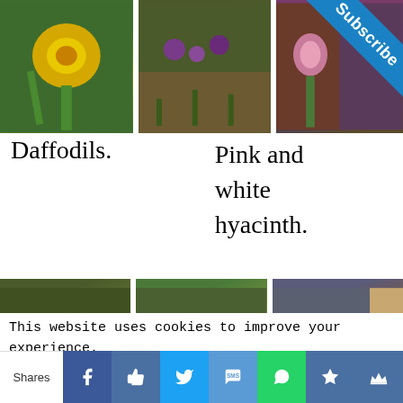[Figure (photo): Daffodil flower close-up with yellow bloom and green stems]
[Figure (photo): Garden bed with purple and colorful small flowers]
[Figure (photo): Pink and white hyacinth plant partially obscured by Subscribe ribbon]
Daffodils.
Pink and white hyacinth.
[Figure (photo): Garden with white small flowers and blue scilla on ground]
[Figure (photo): Garden with white and yellow daffodils in bloom]
[Figure (photo): Garden corner with pink and blue flowers near wooden fence]
This website uses cookies to improve your experience. We'll assume you're ok with this, but you can opt-out if
Shares | Facebook | Like | Twitter | SMS | WhatsApp | Star | Crown